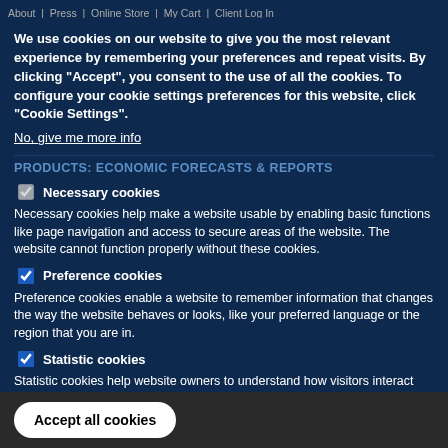About | Press | Online Store | My Cart | Client Log In
We use cookies on our website to give you the most relevant experience by remembering your preferences and repeat visits. By clicking "Accept", you consent to the use of all the cookies. To configure your cookie settings preferences for this website, click "Cookie Settings".
No, give me more info
PRODUCTS: ECONOMIC FORECASTS & REPORTS
Necessary cookies
Necessary cookies help make a website usable by enabling basic functions like page navigation and access to secure areas of the website. The website cannot function properly without these cookies.
Preference cookies
Preference cookies enable a website to remember information that changes the way the website behaves or looks, like your preferred language or the region that you are in.
Statistic cookies
Statistic cookies help website owners to understand how visitors interact with websites by collecting and reporting information anonymously.
OK, I agree
Accept all cookies